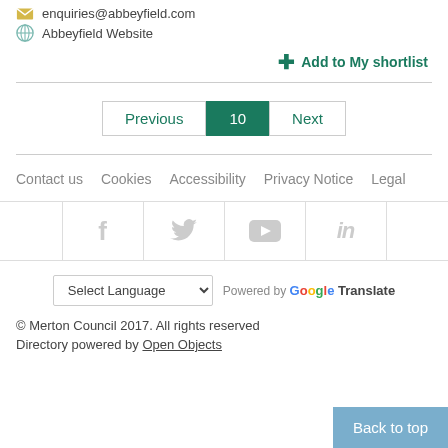enquiries@abbeyfield.com
Abbeyfield Website
+ Add to My shortlist
Previous  10  Next
Contact us   Cookies   Accessibility   Privacy Notice   Legal
[Figure (infographic): Social media icons: Facebook, Twitter, YouTube, LinkedIn in a row of bordered cells]
Select Language  Powered by Google Translate
© Merton Council 2017. All rights reserved
Directory powered by Open Objects
Back to top